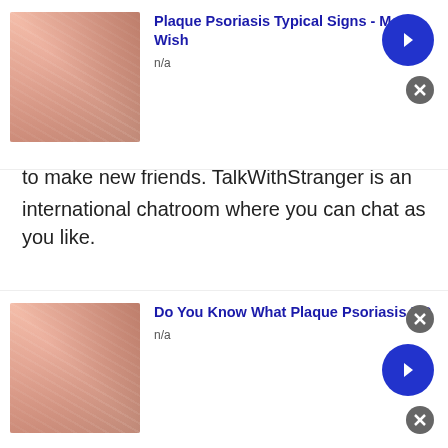[Figure (other): Top advertisement banner: image of skin condition on left, bold blue title 'Plaque Psoriasis Typical Signs - Most Wish', subtitle 'n/a', blue arrow button and close button on right]
to make new friends. TalkWithStranger is an international chatroom where you can chat as you like.
Tajikistan Guest Chat Rooms without registration Tadzhik guest chat rooms is a place to meet strangers from Tajikistan. Also its a place to share your way of understanding world, your culture. It is a place to discuss about your favorite thing, to know about the world and to meet like minded people.
[Figure (other): Bottom advertisement banner: image of skin condition on left, bold blue title 'Do You Know What Plaque Psoriasis Is?', subtitle 'n/a', blue arrow button and close button on right]